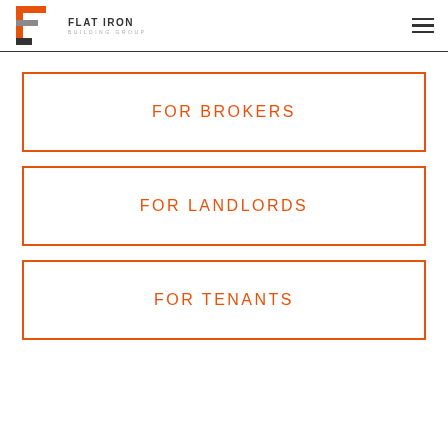[Figure (logo): Flat Iron Building Group logo with stylized F lettermark in orange/red and grey tones]
FOR BROKERS
FOR LANDLORDS
FOR TENANTS